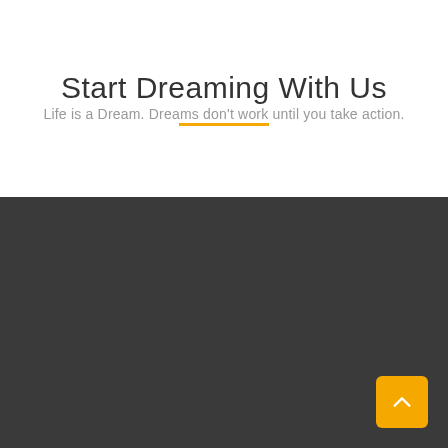Start Dreaming With Us
Life is a Dream. Dreams don't work until you take action.
[Figure (other): Yellow horizontal decorative bar divider]
[Figure (other): Dark gray footer section background with a yellow rounded square back-to-top button containing an upward chevron arrow in the bottom-right corner]